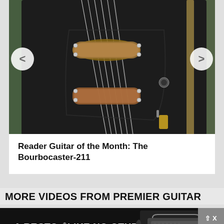[Figure (photo): Close-up photo of a black electric guitar body showing two pickups with gold/copper colored covers, chrome tuning components, strings, and guitar hardware against a black pickguard. Green background partially visible at edges.]
Reader Guitar of the Month: The Bourbocaster-211
MORE VIDEOS FROM PREMIER GUITAR
[Figure (photo): Advertisement banner for Mesa/Boogie's Badlander Series amplifier. Dark background with text 'A RECTO® LIKE NO OTHER', 'THE BADLANDER™ SERIES', orange 'LEARN MORE' button, Mesa/Boogie logo, and image of guitar amplifier head unit with an electric guitar.]